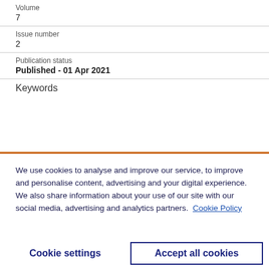Volume
7
Issue number
2
Publication status
Published - 01 Apr 2021
Keywords
We use cookies to analyse and improve our service, to improve and personalise content, advertising and your digital experience. We also share information about your use of our site with our social media, advertising and analytics partners.  Cookie Policy
Cookie settings
Accept all cookies